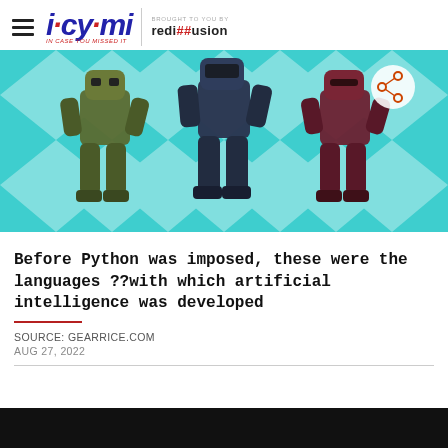icymi | brought to you by rediffusion
[Figure (illustration): Three robot figures standing side by side on a teal/turquoise geometric diamond-pattern background. Left robot is olive/green-tinted, center robot is dark navy/blue-tinted, right robot is dark red/maroon-tinted. A small share/network icon appears in the upper right of the image.]
Before Python was imposed, these were the languages ??with which artificial intelligence was developed
SOURCE: GEARRICE.COM
AUG 27, 2022
[Figure (photo): Black image strip at the bottom of the page (partially visible).]